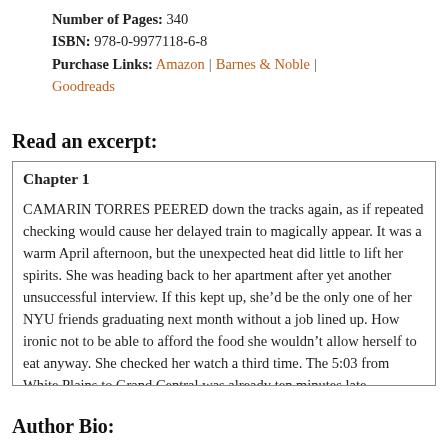Number of Pages: 340
ISBN: 978-0-9977118-6-8
Purchase Links: Amazon | Barnes & Noble | Goodreads
Read an excerpt:
Chapter 1

CAMARIN TORRES PEERED down the tracks again, as if repeated checking would cause her delayed train to magically appear. It was a warm April afternoon, but the unexpected heat did little to lift her spirits. She was heading back to her apartment after yet another unsuccessful interview. If this kept up, she'd be the only one of her NYU friends graduating next month without a job lined up. How ironic not to be able to afford the food she wouldn't allow herself to eat anyway. She checked her watch a third time. The 5:03 from White Plains to Grand Central was already ten minutes late.
Author Bio: